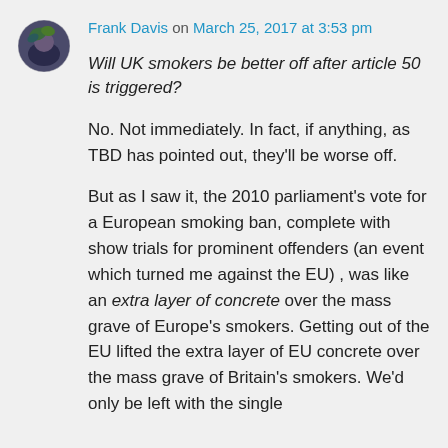Frank Davis on March 25, 2017 at 3:53 pm
Will UK smokers be better off after article 50 is triggered?
No. Not immediately. In fact, if anything, as TBD has pointed out, they'll be worse off.
But as I saw it, the 2010 parliament's vote for a European smoking ban, complete with show trials for prominent offenders (an event which turned me against the EU) , was like an extra layer of concrete over the mass grave of Europe's smokers. Getting out of the EU lifted the extra layer of EU concrete over the mass grave of Britain's smokers. We'd only be left with the single